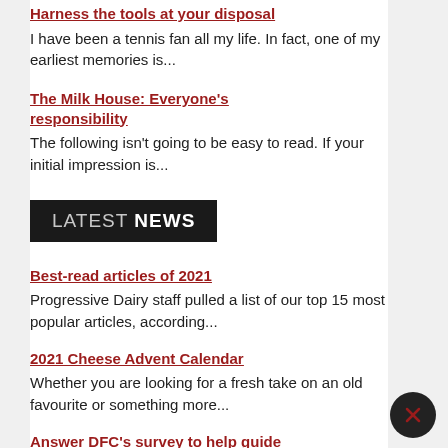Harness the tools at your disposal
I have been a tennis fan all my life. In fact, one of my earliest memories is...
The Milk House: Everyone's responsibility
The following isn't going to be easy to read. If your initial impression is...
LATEST NEWS
Best-read articles of 2021
Progressive Dairy staff pulled a list of our top 15 most popular articles, according...
2021 Cheese Advent Calendar
Whether you are looking for a fresh take on an old favourite or something more...
Answer DFC's survey to help guide strategic research priorities